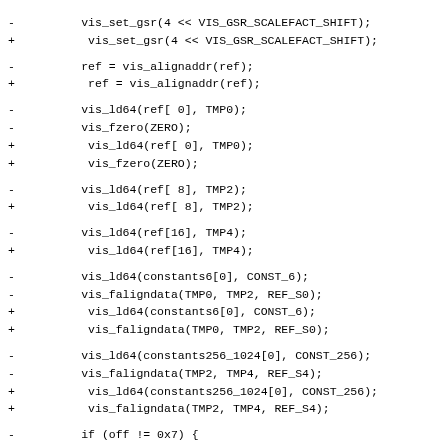- vis_set_gsr(4 << VIS_GSR_SCALEFACT_SHIFT);
+ vis_set_gsr(4 << VIS_GSR_SCALEFACT_SHIFT);
- ref = vis_alignaddr(ref);
+ ref = vis_alignaddr(ref);
- vis_ld64(ref[ 0], TMP0);
- vis_fzero(ZERO);
+ vis_ld64(ref[ 0], TMP0);
+ vis_fzero(ZERO);
- vis_ld64(ref[ 8], TMP2);
+ vis_ld64(ref[ 8], TMP2);
- vis_ld64(ref[16], TMP4);
+ vis_ld64(ref[16], TMP4);
- vis_ld64(constants6[0], CONST_6);
- vis_faligndata(TMP0, TMP2, REF_S0);
+ vis_ld64(constants6[0], CONST_6);
+ vis_faligndata(TMP0, TMP2, REF_S0);
- vis_ld64(constants256_1024[0], CONST_256);
- vis_faligndata(TMP2, TMP4, REF_S4);
+ vis_ld64(constants256_1024[0], CONST_256);
+ vis_faligndata(TMP2, TMP4, REF_S4);
- if (off != 0x7) {
-     vis_alignaddr_g0((void *)off_plus_1);